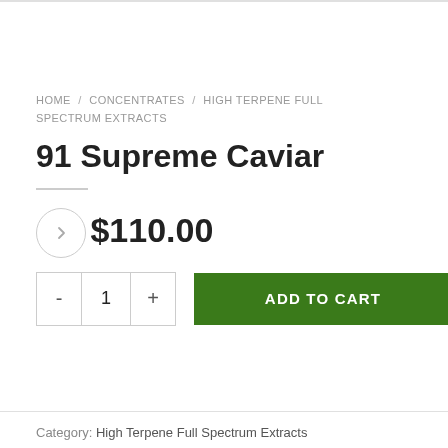HOME / CONCENTRATES / HIGH TERPENE FULL SPECTRUM EXTRACTS
91 Supreme Caviar
$110.00
- 1 + ADD TO CART
Category: High Terpene Full Spectrum Extracts